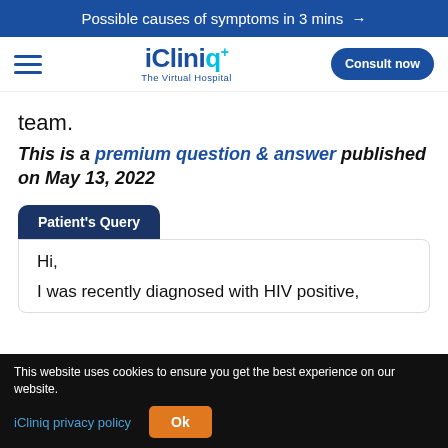Possible causes of symptoms in 3 mins →
[Figure (logo): iCliniq+ The Virtual Hospital logo with navigation hamburger menu and Consult now button]
team.
This is a premium question & answer published on May 13, 2022
Patient's Query
Hi,

I was recently diagnosed with HIV positive,
This website uses cookies to ensure you get the best experience on our website. iCliniq privacy policy Ok